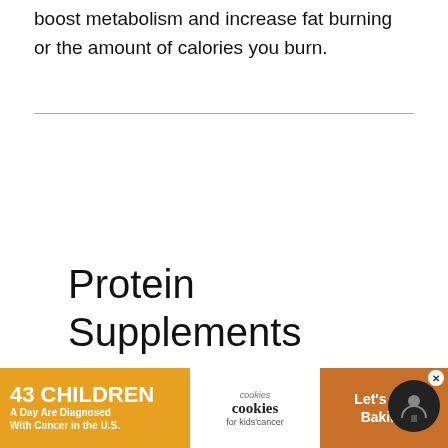boost metabolism and increase fat burning or the amount of calories you burn.
Protein Supplements
Using protein supplements such as protein powder is also a great way to aid in weight loss and muscle toning. Protein powder is the most popular protein supplement that comes in different types that include plant-based and dairy based
[Figure (other): Advertisement banner: '43 CHILDREN A Day Are Diagnosed With Cancer in the U.S.' with cookies for kids' cancer logo and 'Let's Get Baking' text on an orange background. Includes a close button and a circular avatar icon.]